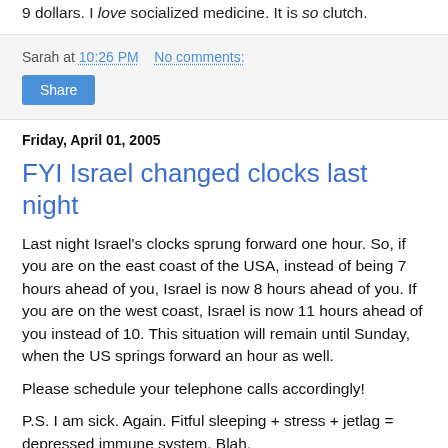9 dollars. I love socialized medicine. It is so clutch.
Sarah at 10:26 PM   No comments:
Share
Friday, April 01, 2005
FYI Israel changed clocks last night
Last night Israel's clocks sprung forward one hour. So, if you are on the east coast of the USA, instead of being 7 hours ahead of you, Israel is now 8 hours ahead of you. If you are on the west coast, Israel is now 11 hours ahead of you instead of 10. This situation will remain until Sunday, when the US springs forward an hour as well.
Please schedule your telephone calls accordingly!
P.S. I am sick. Again. Fitful sleeping + stress + jetlag = depressed immune system. Blah.